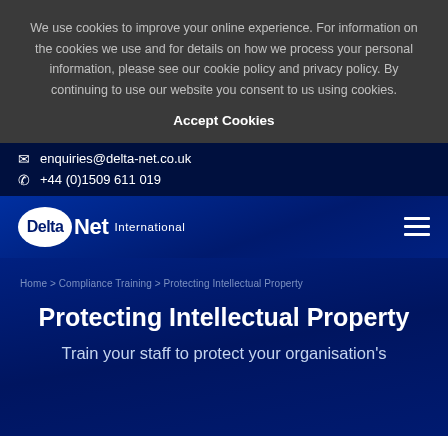We use cookies to improve your online experience. For information on the cookies we use and for details on how we process your personal information, please see our cookie policy and privacy policy. By continuing to use our website you consent to us using cookies.
Accept Cookies
enquiries@delta-net.co.uk
+44 (0)1509 611 019
[Figure (logo): DeltaNet International logo — white oval containing 'Delta' text, followed by 'Net' and 'International' in white]
Home > Compliance Training > Protecting Intellectual Property
Protecting Intellectual Property
Train your staff to protect your organisation's